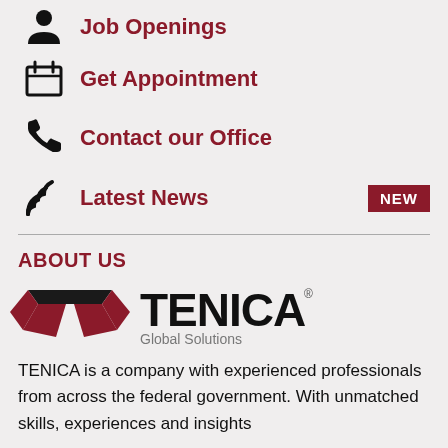Job Openings
Get Appointment
Contact our Office
Latest News
ABOUT US
[Figure (logo): TENICA Global Solutions logo with stylized bowtie/arrow icon in dark red and black text]
TENICA is a company with experienced professionals from across the federal government. With unmatched skills, experiences and insights